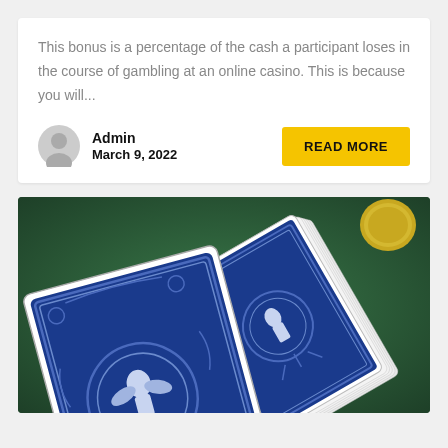This bonus is a percentage of the cash a participant loses in the course of gambling at an online casino. This is because you will...
Admin
March 9, 2022
READ MORE
[Figure (photo): A deck of playing cards with blue Bicycle-style backs fanned out face-down on a green felt casino table surface, with a gold coin visible in the upper right corner.]